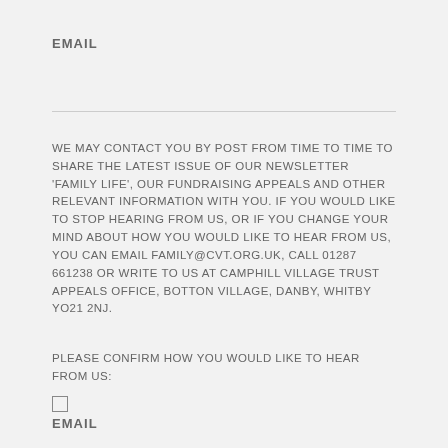EMAIL
WE MAY CONTACT YOU BY POST FROM TIME TO TIME TO SHARE THE LATEST ISSUE OF OUR NEWSLETTER 'FAMILY LIFE', OUR FUNDRAISING APPEALS AND OTHER RELEVANT INFORMATION WITH YOU. IF YOU WOULD LIKE TO STOP HEARING FROM US, OR IF YOU CHANGE YOUR MIND ABOUT HOW YOU WOULD LIKE TO HEAR FROM US, YOU CAN EMAIL FAMILY@CVT.ORG.UK, CALL 01287 661238 OR WRITE TO US AT CAMPHILL VILLAGE TRUST APPEALS OFFICE, BOTTON VILLAGE, DANBY, WHITBY YO21 2NJ.
PLEASE CONFIRM HOW YOU WOULD LIKE TO HEAR FROM US:
EMAIL